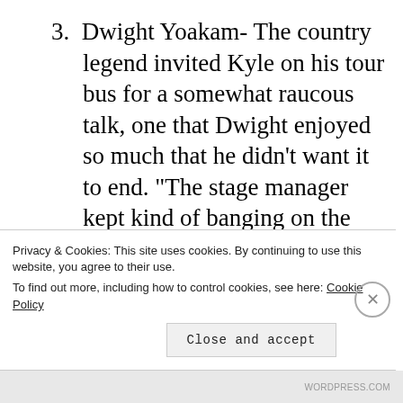3. Dwight Yoakam- The country legend invited Kyle on his tour bus for a somewhat raucous talk, one that Dwight enjoyed so much that he didn’t want it to end. “The stage manager kept kind of banging on the door telling him it was time to go stage, but we just kept right on talking.” Dwight’s parents lived in Louisville and he was born in
Privacy & Cookies: This site uses cookies. By continuing to use this website, you agree to their use.
To find out more, including how to control cookies, see here: Cookie Policy
WORDPRESS.COM